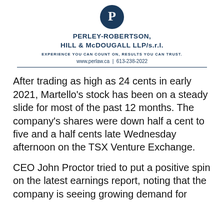[Figure (logo): Perley-Robertson Hill & McDougall LLP/s.r.l. circular logo with a stylized 'P' on a dark navy background]
PERLEY-ROBERTSON, HILL & McDOUGALL LLP/s.r.l.
EXPERIENCE YOU CAN COUNT ON, RESULTS YOU CAN TRUST.
www.perlaw.ca  |  613-238-2022
After trading as high as 24 cents in early 2021, Martello's stock has been on a steady slide for most of the past 12 months. The company's shares were down half a cent to five and a half cents late Wednesday afternoon on the TSX Venture Exchange.
CEO John Proctor tried to put a positive spin on the latest earnings report, noting that the company is seeing growing demand for